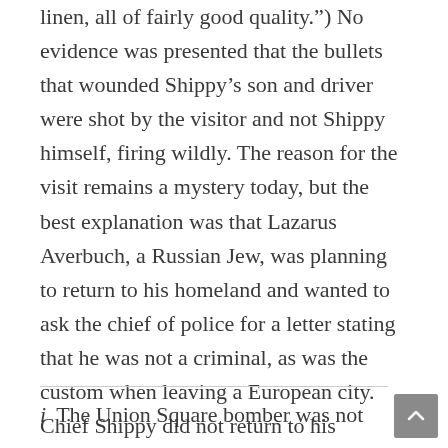linen, all of fairly good quality.") No evidence was presented that the bullets that wounded Shippy’s son and driver were shot by the visitor and not Shippy himself, firing wildly. The reason for the visit remains a mystery today, but the best explanation was that Lazarus Averbuch, a Russian Jew, was planning to return to his homeland and wanted to ask the chief of police for a letter stating that he was not a criminal, as was the custom when leaving a European city. Chief Shippy did not return to his position and resigned two months later. He died in 1911 from syphilis, the final stage of which can result in hallucinations and paranoia.
The Union Square bomber was not